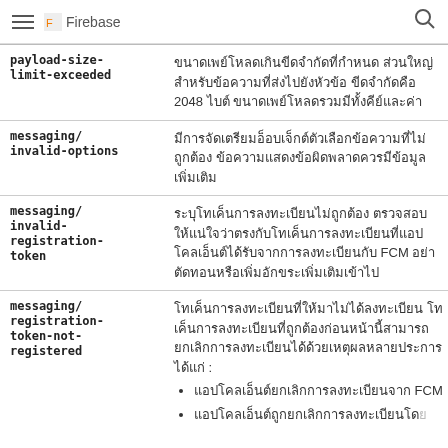Firebase
| Error code | Description |
| --- | --- |
| payload-size-limit-exceeded | ขนาดเพย์โหลดเกินขีดจำกัดที่กำหนด ขีดจำกัดคือ 2048 ไบต์ ขนาดเพย์โหลดรวมมีทั้งคีย์และค่า |
| messaging/invalid-options | มีการจัดเตรียมอ็อบเจ็กต์ตัวเลือกข้อความที่ไม่ถูกต้อง ข้อความแสดงข้อผิดพลาดควรมีข้อมูลเพิ่มเติม |
| messaging/invalid-registration-token | ระบุโทเค็นการลงทะเบียนไม่ถูกต้อง ตรวจสอบให้แน่ใจว่าตรงกับโทเค็นการลงทะเบียนที่แอปโคลเอ็นต์ได้รับจากการลงทะเบียนกับ FCM อย่าตัดทอนหรือเพิ่มอักขระเพิ่มเติมเข้าไป |
| messaging/registration-token-not-registered | โทเค็นการลงทะเบียนที่ให้มาไม่ได้ลงทะเบียน โทเค็นการลงทะเบียนที่ถูกต้องก่อนหน้านี้สามารถยกเลิกการลงทะเบียนได้ด้วยเหตุผลหลายประการ ได้แก่ : • แอปโคลเอ็นต์ยกเลิกการลงทะเบียนจาก FCM • แอปโคลเอ็นต์ถูกยกเลิกการลงทะเบียนโดย |